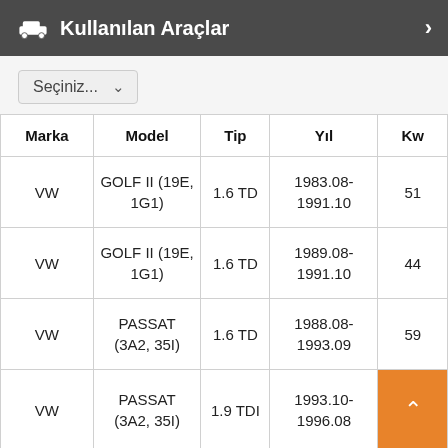Kullanılan Araçlar
Seçiniz...
| Marka | Model | Tip | Yıl | Kw |
| --- | --- | --- | --- | --- |
| VW | GOLF II (19E, 1G1) | 1.6 TD | 1983.08-1991.10 | 51 |
| VW | GOLF II (19E, 1G1) | 1.6 TD | 1989.08-1991.10 | 44 |
| VW | PASSAT (3A2, 35I) | 1.6 TD | 1988.08-1993.09 | 59 |
| VW | PASSAT (3A2, 35I) | 1.9 TDI | 1993.10-1996.08 |  |